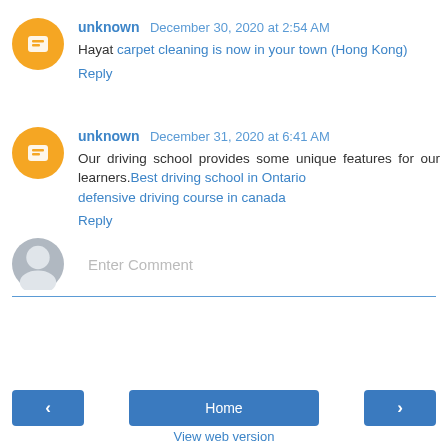unknown  December 30, 2020 at 2:54 AM
Hayat carpet cleaning is now in your town (Hong Kong)
Reply
unknown  December 31, 2020 at 6:41 AM
Our driving school provides some unique features for our learners.Best driving school in Ontario
defensive driving course in canada
Reply
Enter Comment
Home
View web version